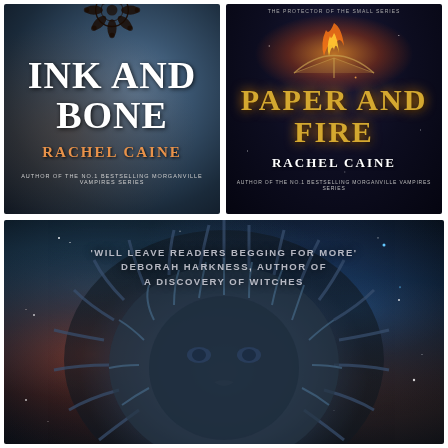[Figure (illustration): Book cover for 'Ink and Bone' by Rachel Caine. Dark blue-grey cosmic background with mandala decorations at top. Large white bold title text 'INK AND BONE' and author name 'RACHEL CAINE' in orange. Subtitle: 'Author of the No.1 Bestselling Morganville Vampires Series'.]
[Figure (illustration): Book cover for 'Paper and Fire' by Rachel Caine. Dark space/nebula background with glowing book and fire at top. Golden title text 'PAPER AND FIRE' and white author name 'RACHEL CAINE'. Series label 'The Protector of the Small Series' at top. Subtitle: 'Author of the No.1 Bestselling Morganville Vampires Series'.]
[Figure (illustration): Book cover featuring a large lion face rendered in blue-grey cosmic tones against a nebula background with stars. Red/orange nebula on left, blue nebula on right. Quote at top: ''Will leave readers begging for more' Deborah Harkness, author of A Discovery of Witches'.]